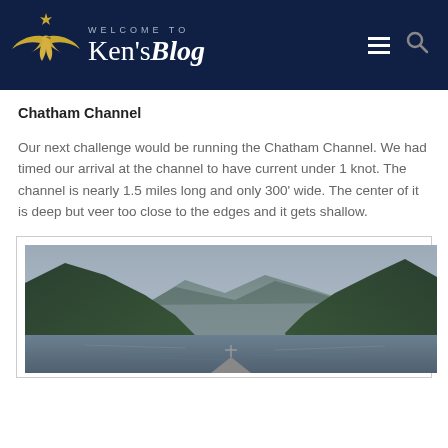[Figure (logo): Ken's Blog website header with swan/eagle logo on dark navy background, 'WELCOME TO' text above, 'Ken'sBlog' title, hamburger menu icon and search icon on right]
Chatham Channel
Our next challenge would be running the Chatham Channel. We had timed our arrival at the channel to have current under 1 knot. The channel is nearly 1.5 miles long and only 300' wide. The center of it is deep but veer too close to the edges and it gets shallow.
[Figure (photo): View from the bow of a boat looking down Chatham Channel, forested mountains on both sides, overcast sky, calm water ahead]